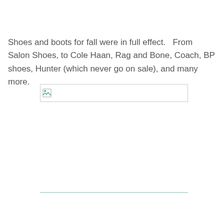Shoes and boots for fall were in full effect.   From Salon Shoes, to Cole Haan, Rag and Bone, Coach, BP shoes, Hunter (which never go on sale), and many more.
[Figure (photo): Broken/missing image placeholder showing a small image icon with a border rectangle]